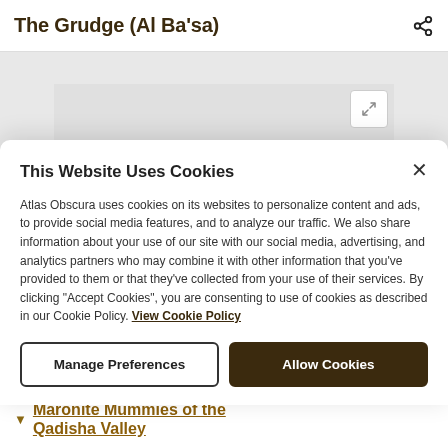The Grudge (Al Ba'sa)
[Figure (screenshot): Map area with expand button, partially visible behind cookie modal]
This Website Uses Cookies
Atlas Obscura uses cookies on its websites to personalize content and ads, to provide social media features, and to analyze our traffic. We also share information about your use of our site with our social media, advertising, and analytics partners who may combine it with other information that you've provided to them or that they've collected from your use of their services. By clicking "Accept Cookies", you are consenting to use of cookies as described in our Cookie Policy. View Cookie Policy
Manage Preferences
Allow Cookies
Maronite Mummies of the Qadisha Valley